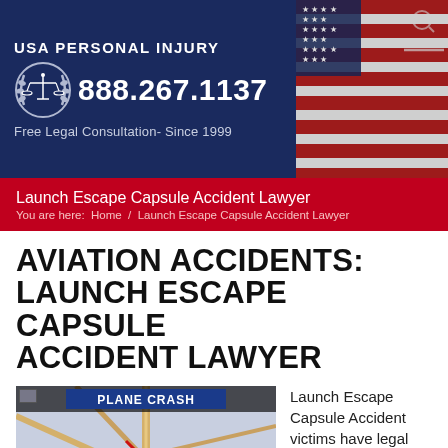[Figure (logo): USA Personal Injury law firm header banner with scales of justice logo, phone number 888.267.1137, tagline 'Free Legal Consultation- Since 1999', and US flag on the right side]
Launch Escape Capsule Accident Lawyer
You are here:  Home  /  Launch Escape Capsule Accident Lawyer
AVIATION ACCIDENTS: LAUNCH ESCAPE CAPSULE ACCIDENT LAWYER
[Figure (screenshot): News broadcast screenshot showing a map of the Atlanta area with 'PLANE CRASH' headline banner, marking Peachtree Industrial Blvd and Peachtree DeKalb Airport]
Launch Escape Capsule Accident victims have legal rights that can provide both